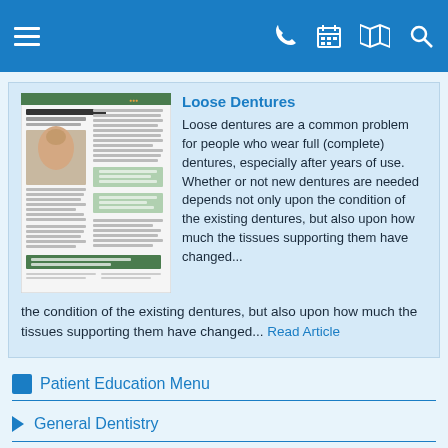Navigation bar with hamburger menu, phone, calendar, map, and search icons
[Figure (screenshot): Thumbnail of a dental article titled 'Loose Dentures' showing a patient brochure layout with a woman's photo and text columns]
Loose Dentures
Loose dentures are a common problem for people who wear full (complete) dentures, especially after years of use. Whether or not new dentures are needed depends not only upon the condition of the existing dentures, but also upon how much the tissues supporting them have changed...
Read Article
Patient Education Menu
General Dentistry
Teeth Whitening